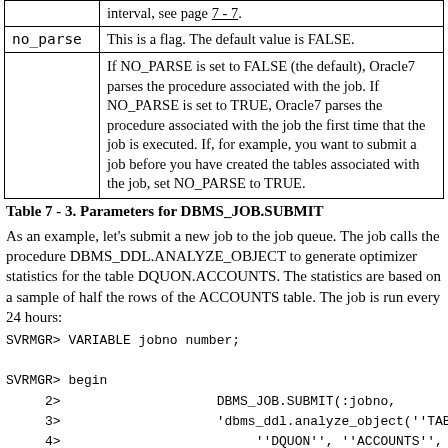| Parameter | Description |
| --- | --- |
|  | interval, see page 7 - 7. |
| no_parse | This is a flag. The default value is FALSE. |
|  | If NO_PARSE is set to FALSE (the default), Oracle7 parses the procedure associated with the job. If NO_PARSE is set to TRUE, Oracle7 parses the procedure associated with the job the first time that the job is executed. If, for example, you want to submit a job before you have created the tables associated with the job, set NO_PARSE to TRUE. |
Table 7 - 3. Parameters for DBMS_JOB.SUBMIT
As an example, let's submit a new job to the job queue. The job calls the procedure DBMS_DDL.ANALYZE_OBJECT to generate optimizer statistics for the table DQUON.ACCOUNTS. The statistics are based on a sample of half the rows of the ACCOUNTS table. The job is run every 24 hours:
SVRMGR> VARIABLE jobno number;

SVRMGR> begin
     2>                    DBMS_JOB.SUBMIT(:jobno,
     3>                    'dbms_ddl.analyze_object(''TABLE
     4>                         ''DQUON'', ''ACCOUNTS'',
     5>                         ''ESTIMATE'', NULL, 50);
     6>                         SYSDATE, 'SYSDATE + 1');
     7> end;